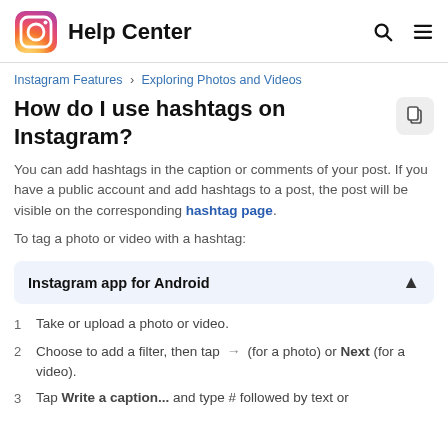Help Center
Instagram Features > Exploring Photos and Videos
How do I use hashtags on Instagram?
You can add hashtags in the caption or comments of your post. If you have a public account and add hashtags to a post, the post will be visible on the corresponding hashtag page.
To tag a photo or video with a hashtag:
Instagram app for Android
Take or upload a photo or video.
Choose to add a filter, then tap → (for a photo) or Next (for a video).
Tap Write a caption... and type # followed by text or